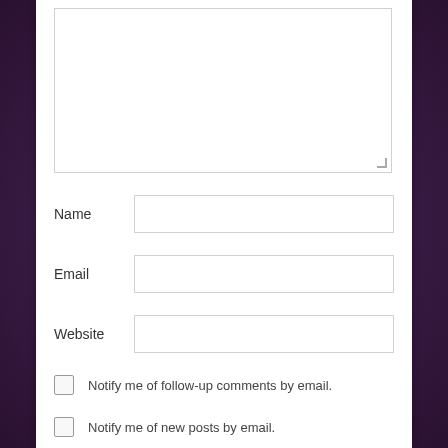[Figure (screenshot): A web comment form with a large textarea at the top, followed by Name, Email, and Website text input fields, and two checkboxes for notification preferences.]
Name
Email
Website
Notify me of follow-up comments by email.
Notify me of new posts by email.